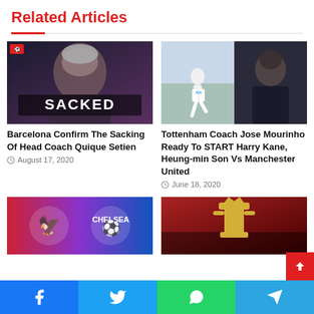Related Articles
[Figure (photo): Man with 'SACKED' text overlay — Barcelona manager Quique Setien]
Barcelona Confirm The Sacking Of Head Coach Quique Setien
August 17, 2020
[Figure (photo): Tottenham player Harry Kane running and Jose Mourinho side by side]
Tottenham Coach Jose Mourinho Ready To START Harry Kane, Heung-min Son Vs Manchester United
June 18, 2020
[Figure (photo): Crystal Palace vs Chelsea — club badges on red/blue background]
[Figure (photo): Premier League trophy held up at stadium]